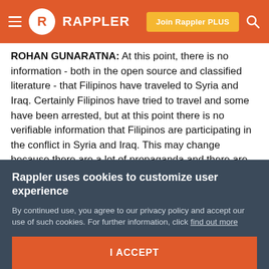RAPPLER — Join Rappler PLUS
ROHAN GUNARATNA: At this point, there is no information - both in the open source and classified literature - that Filipinos have traveled to Syria and Iraq. Certainly Filipinos have tried to travel and some have been arrested, but at this point there is no verifiable information that Filipinos are participating in the conflict in Syria and Iraq. This may change because there are a lot of propaganda and there are financiers, ideologues, who are emerging in Southeast Asia including the Philippines linked to ISIS.
MARIA RESSA: Should authorities pay attention to it?
Rappler uses cookies to customize user experience
By continued use, you agree to our privacy policy and accept our use of such cookies. For further information, click find out more
I ACCEPT